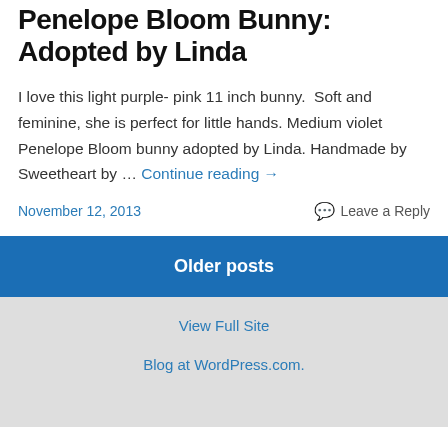Penelope Bloom Bunny: Adopted by Linda
I love this light purple- pink 11 inch bunny.  Soft and feminine, she is perfect for little hands. Medium violet Penelope Bloom bunny adopted by Linda. Handmade by Sweetheart by … Continue reading →
November 12, 2013   Leave a Reply
Older posts
View Full Site
Blog at WordPress.com.